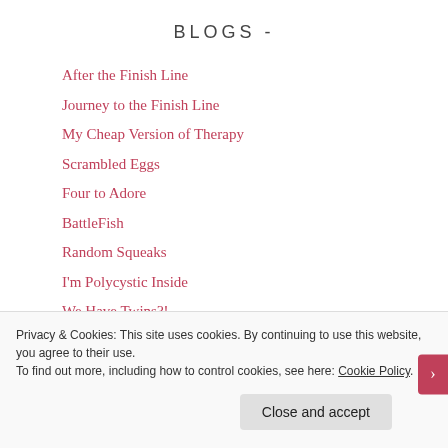BLOGS -
After the Finish Line
Journey to the Finish Line
My Cheap Version of Therapy
Scrambled Eggs
Four to Adore
BattleFish
Random Squeaks
I'm Polycystic Inside
We Have Twins?!
Hopeful and Hungry
Something Out Of Nothing
Privacy & Cookies: This site uses cookies. By continuing to use this website, you agree to their use. To find out more, including how to control cookies, see here: Cookie Policy